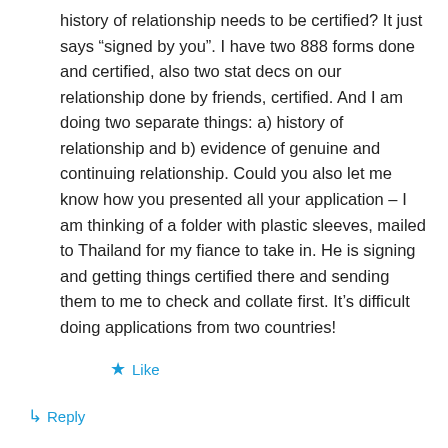history of relationship needs to be certified? It just says “signed by you”. I have two 888 forms done and certified, also two stat decs on our relationship done by friends, certified. And I am doing two separate things: a) history of relationship and b) evidence of genuine and continuing relationship. Could you also let me know how you presented all your application – I am thinking of a folder with plastic sleeves, mailed to Thailand for my fiance to take in. He is signing and getting things certified there and sending them to me to check and collate first. It’s difficult doing applications from two countries!
Like
Reply